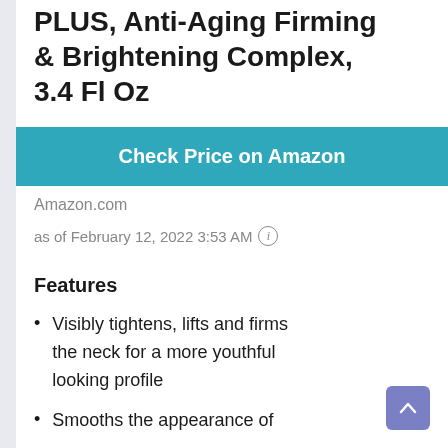PLUS, Anti-Aging Firming & Brightening Complex, 3.4 Fl Oz
[Figure (other): Teal button with white text reading 'Check Price on Amazon']
Amazon.com
as of February 12, 2022 3:53 AM ℹ
Features
Visibly tightens, lifts and firms the neck for a more youthful looking profile
Smooths the appearance of